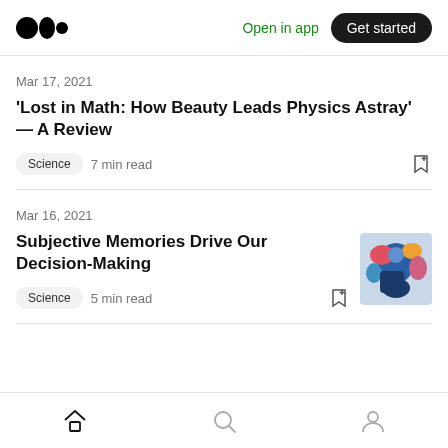Medium logo | Open in app | Get started
Mar 17, 2021
‘Lost in Math: How Beauty Leads Physics Astray’ — A Review
Science   7 min read
Mar 16, 2021
Subjective Memories Drive Our Decision-Making
Science   5 min read
Home | Search | Profile